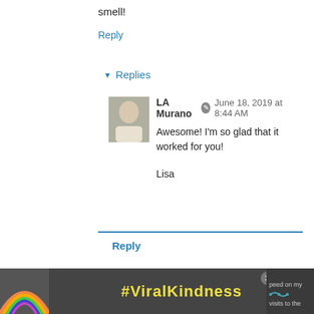smell!
Reply
Replies
LA Murano  June 18, 2019 at 8:44 AM
Awesome! I'm so glad that it worked for you!

Lisa
Reply
melbourne  June 10, 2019 at 3:17 AM
This is much better than the store bought $35 spray ly sadness is in Australia a 200ml bottle of the sam  % peroxide is $4. Still that's much better than a $25   5 spray. And this is much better than the $35 spray, although
[Figure (infographic): #ViralKindness advertisement banner at the bottom with rainbow graphic and close button]